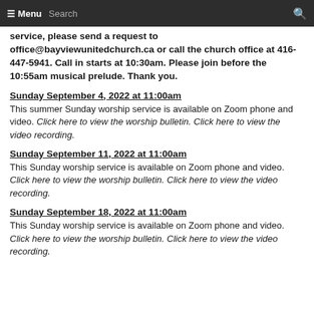≡ Menu   Search   🔍
service, please send a request to office@bayviewunitedchurch.ca or call the church office at 416-447-5941. Call in starts at 10:30am. Please join before the 10:55am musical prelude. Thank you.
Sunday September 4, 2022 at 11:00am
This summer Sunday worship service is available on Zoom phone and video. Click here to view the worship bulletin. Click here to view the video recording.
Sunday September 11, 2022 at 11:00am
This Sunday worship service is available on Zoom phone and video. Click here to view the worship bulletin. Click here to view the video recording.
Sunday September 18, 2022 at 11:00am
This Sunday worship service is available on Zoom phone and video. Click here to view the worship bulletin. Click here to view the video recording.